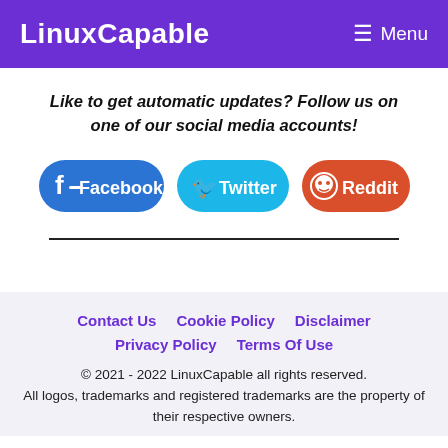LinuxCapable   ☰ Menu
Like to get automatic updates? Follow us on one of our social media accounts!
[Figure (other): Three social media buttons: Facebook (blue), Twitter (light blue), Reddit (orange-red)]
Contact Us   Cookie Policy   Disclaimer   Privacy Policy   Terms Of Use
© 2021 - 2022 LinuxCapable all rights reserved.
All logos, trademarks and registered trademarks are the property of their respective owners.